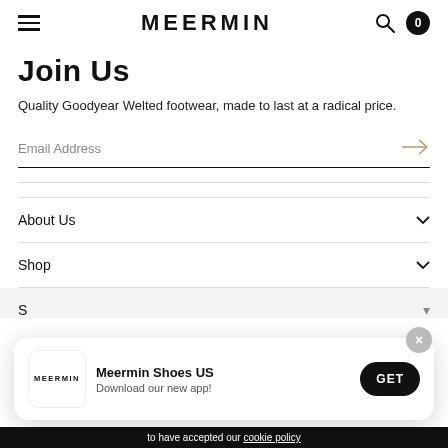MEERMIN
Join Us
Quality Goodyear Welted footwear, made to last at a radical price.
Email Address
About Us
Shop
[Figure (screenshot): App install banner for Meermin Shoes US with logo, download prompt, and GET button]
to have accepted our cookie policy